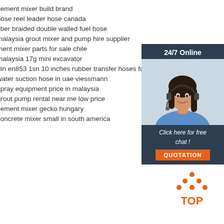cement mixer build brand
hose reel leader hose canada
fiber braided double walled fuel hose
malaysia grout mixer and pump hire supplier
ment mixer parts for sale chile
malaysia 17g mini excavator
din en853 1sn 10 inches rubber transfer hoses for ch…
water suction hose in uae viessmann
spray equipment price in malaysia
grout pump rental near me low price
cement mixer gecko hungary
concrete mixer small in south america
[Figure (illustration): 24/7 Online chat widget with a woman wearing a headset, dark background, 'Click here for free chat!' text and orange QUOTATION button]
[Figure (logo): Orange dots arranged in a triangle above orange 'TOP' text — a back-to-top button graphic]